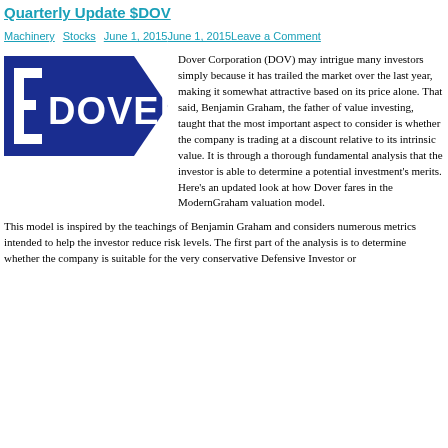Quarterly Update $DOV
Machinery Stocks June 1, 2015June 1, 2015Leave a Comment
[Figure (logo): Dover Corporation logo — white text 'DOVER' on dark blue pentagon/arrow shaped background with a stylized square bracket symbol on the left]
Dover Corporation (DOV) may intrigue many investors simply because it has trailed the market over the last year, making it somewhat attractive based on its price alone. That said, Benjamin Graham, the father of value investing, taught that the most important aspect to consider is whether the company is trading at a discount relative to its intrinsic value. It is through a thorough fundamental analysis that the investor is able to determine a potential investment's merits. Here's an updated look at how Dover fares in the ModernGraham valuation model.
This model is inspired by the teachings of Benjamin Graham and considers numerous metrics intended to help the investor reduce risk levels. The first part of the analysis is to determine whether the company is suitable for the very conservative Defensive Investor or